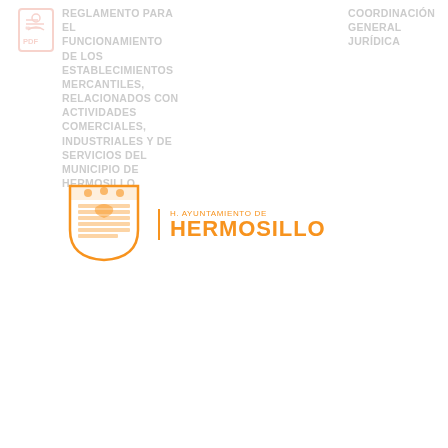REGLAMENTO PARA EL FUNCIONAMIENTO DE LOS ESTABLECIMIENTOS MERCANTILES, RELACIONADOS CON ACTIVIDADES COMERCIALES, INDUSTRIALES Y DE SERVICIOS DEL MUNICIPIO DE HERMOSILLO
COORDINACIÓN GENERAL JURÍDICA
[Figure (logo): H. Ayuntamiento de Hermosillo official seal/logo with orange shield and text]
LEY DE PROTECCIÓN A MADRES JEFAS DE FAMILIA
COORDINACIÓN GENERAL JURÍDICA
LEY DE FOMENTO A LA INNOVACIÓN Y AL DESARROLLO
COORDINACIÓN GENERAL JURÍDICA